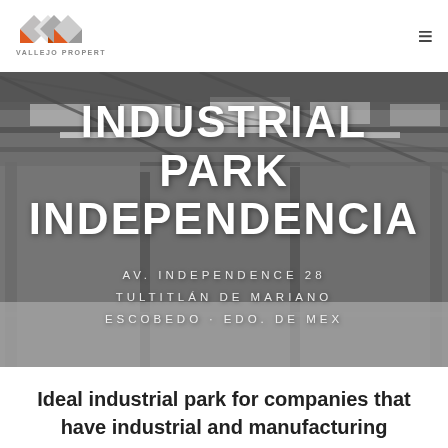VALLEJO PROPERTIES
[Figure (photo): Interior of an industrial warehouse with steel roof structure, skylights, columns, and concrete floor. Overlaid with white text: INDUSTRIAL PARK INDEPENDENCIA and address AV. INDEPENDENCE 28, TULTITLÁN DE MARIANO ESCOBEDO · EDO. DE MEX]
INDUSTRIAL PARK INDEPENDENCIA
AV. INDEPENDENCE 28 TULTITLÁN DE MARIANO ESCOBEDO · EDO. DE MEX
Ideal industrial park for companies that have industrial and manufacturing